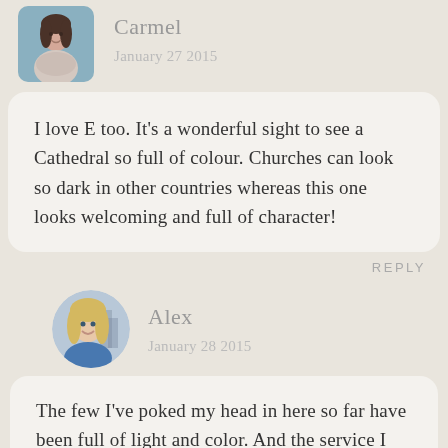[Figure (photo): Circular/rounded avatar photo of Carmel, a woman with dark hair wearing a scarf, blue background]
Carmel
January 27 2015
I love E too. It's a wonderful sight to see a Cathedral so full of colour. Churches can look so dark in other countries whereas this one looks welcoming and full of character!
REPLY
[Figure (photo): Circular avatar photo of Alex, a blonde woman smiling]
Alex
January 28 2015
The few I've poked my head in here so far have been full of light and color. And the service I peeped in